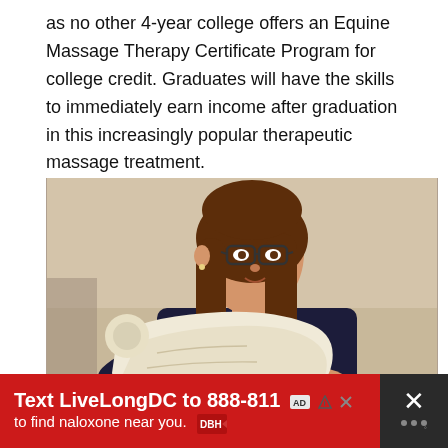as no other 4-year college offers an Equine Massage Therapy Certificate Program for college credit. Graduates will have the skills to immediately earn income after graduation in this increasingly popular therapeutic massage treatment.
[Figure (photo): A woman with long brown hair and glasses, wearing a dark polo shirt with 'Equestrian' text, holding a large white anatomical bone/skull model. She appears to be in a classroom or lab setting.]
Text LiveLongDC to 888-811 to find naloxone near you.